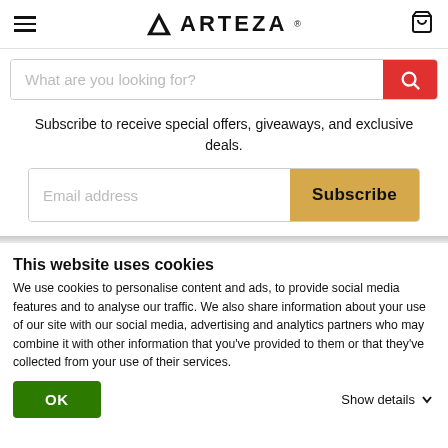[Figure (logo): Arteza brand logo with triangle/mountain icon and ARTEZA text]
[Figure (screenshot): Search bar with placeholder 'What are you looking for?' and red search button]
Subscribe to receive special offers, giveaways, and exclusive deals.
[Figure (screenshot): Email address input field with gold Subscribe button]
This website uses cookies
We use cookies to personalise content and ads, to provide social media features and to analyse our traffic. We also share information about your use of our site with our social media, advertising and analytics partners who may combine it with other information that you've provided to them or that they've collected from your use of their services.
[Figure (screenshot): OK button (green) and Show details link with chevron]